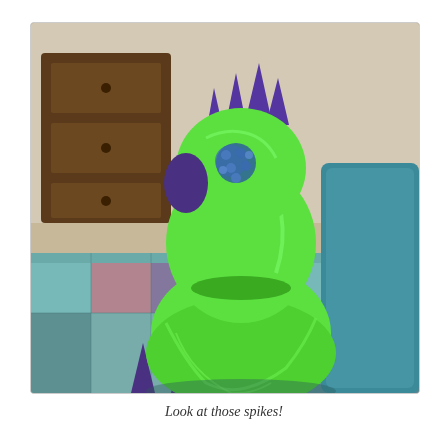[Figure (photo): A stuffed animal or toy dressed in a green satin dress or costume with purple spikes along its back. The toy is viewed from behind and is sitting on a colorful patchwork quilt on a bed. A wooden dresser is visible in the background. The toy has bright green shiny fabric for the body and purple triangular spikes along the spine and head.]
Look at those spikes!